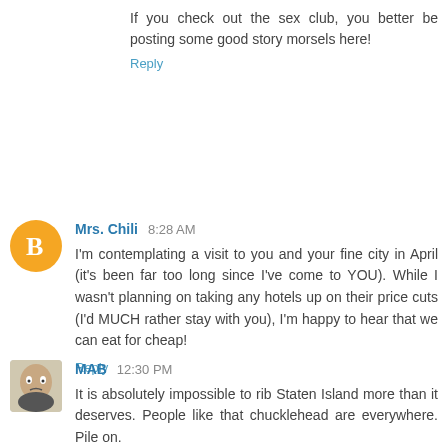If you check out the sex club, you better be posting some good story morsels here!
Reply
Mrs. Chili 8:28 AM
I'm contemplating a visit to you and your fine city in April (it's been far too long since I've come to YOU). While I wasn't planning on taking any hotels up on their price cuts (I'd MUCH rather stay with you), I'm happy to hear that we can eat for cheap!
Reply
MAB 12:30 PM
It is absolutely impossible to rib Staten Island more than it deserves. People like that chucklehead are everywhere. Pile on.
Is Chili's visit inspired by #10? Hmm. Girls' night out.